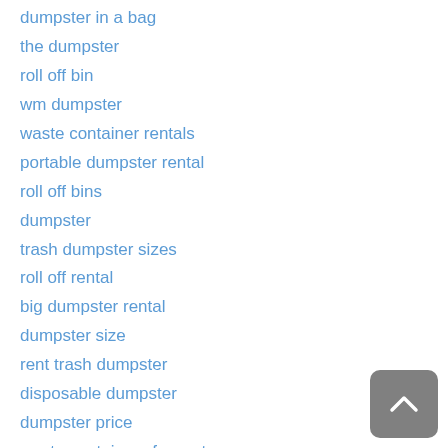dumpster in a bag
the dumpster
roll off bin
wm dumpster
waste container rentals
portable dumpster rental
roll off bins
dumpster
trash dumpster sizes
roll off rental
big dumpster rental
dumpster size
rent trash dumpster
disposable dumpster
dumpster price
waste containers for rent
trash roll off container
garbage containers
yard dumpster